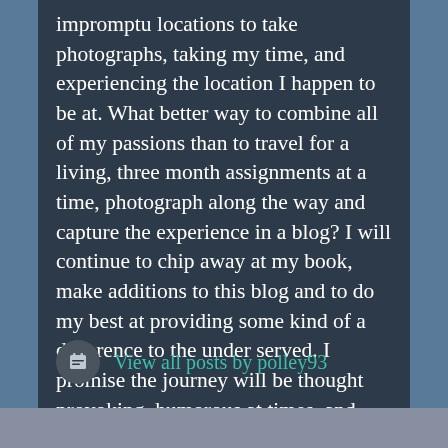impromptu locations to take photographs, taking my time, and experiencing the location I happen to be at. What better way to combine all of my passions than to travel for a living, three month assignments at a time, photograph along the way and capture the experience in a blog? I will continue to chip away at my book, make additions to this blog and to do my best at providing some kind of a difference to the under served. I promise the journey will be thought provoking, humorous at times, and never ever dull. Thanks for joining my journey.
View all posts by polley93